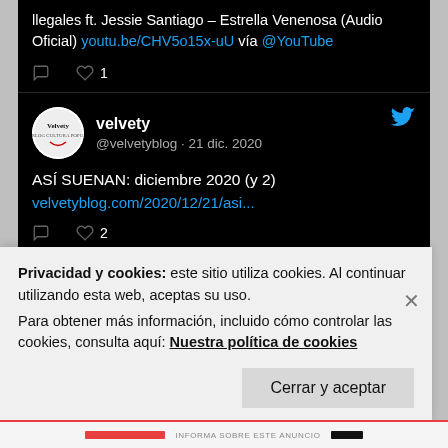[Figure (screenshot): Screenshot of a Twitter/social media feed showing tweets from @velvetyblog, with a cookie consent banner overlay at the bottom. The feed is shown on a dark (black) background. Top tweet shows a partial tweet with link youtu.be/CHV5o15x-uU and @YouTube, with 1 like. Second tweet from 'velvety / @velvetyblog · 21 dic. 2020' reads 'ASÍ SUENAN: diciembre 2020 (y 2)' with link velvetyblog.com/2020/12/21/asi... and 2 likes. Third tweet (partial) from 'velvety / @velvetyblog · 18 dic. 2020'. A cookie consent banner overlays the bottom: 'Privacidad y cookies: este sitio utiliza cookies. Al continuar utilizando esta web, aceptas su uso. Para obtener más información, incluido cómo controlar las cookies, consulta aquí: Nuestra política de cookies' with a 'Cerrar y aceptar' button.]